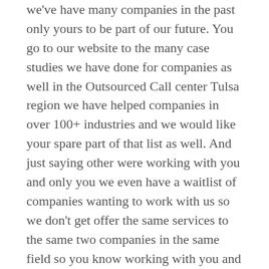we've have many companies in the past only yours to be part of our future. You go to our website to the many case studies we have done for companies as well in the Outsourced Call center Tulsa region we have helped companies in over 100+ industries and we would like your spare part of that list as well. And just saying other were working with you and only you we even have a waitlist of companies wanting to work with us so we don't get offer the same services to the same two companies in the same field so you know working with you and only your business.
You can go to our website or contact us